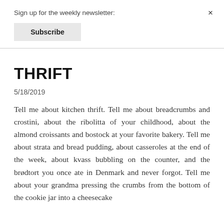Sign up for the weekly newsletter:
Subscribe
THRIFT
5/18/2019
Tell me about kitchen thrift. Tell me about breadcrumbs and crostini, about the ribolitta of your childhood, about the almond croissants and bostock at your favorite bakery. Tell me about strata and bread pudding, about casseroles at the end of the week, about kvass bubbling on the counter, and the brødtort you once ate in Denmark and never forgot. Tell me about your grandma pressing the crumbs from the bottom of the cookie jar into a cheesecake